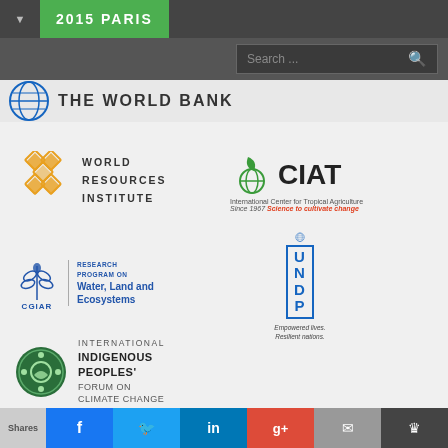2015 PARIS
[Figure (logo): The World Bank logo with globe icon and text]
[Figure (logo): World Resources Institute logo with gold diamond pattern]
[Figure (logo): CIAT - International Center for Tropical Agriculture logo with green leaf and globe]
[Figure (logo): CGIAR Research Program on Water, Land and Ecosystems logo]
[Figure (logo): UNDP - Empowered lives. Resilient nations. logo]
[Figure (logo): International Indigenous Peoples Forum on Climate Change logo with green circular emblem]
Shares | Facebook | Twitter | LinkedIn | Google+ | Email | Bookmark